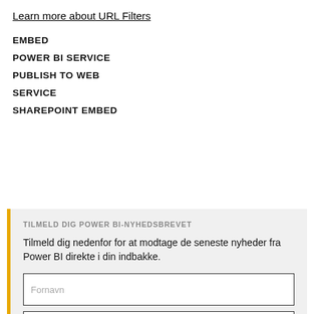Learn more about URL Filters
EMBED
POWER BI SERVICE
PUBLISH TO WEB
SERVICE
SHAREPOINT EMBED
TILMELD DIG POWER BI-NYHEDSBREVET
Tilmeld dig nedenfor for at modtage de seneste nyheder fra Power BI direkte i din indbakke.
Fornavn
Efternavn